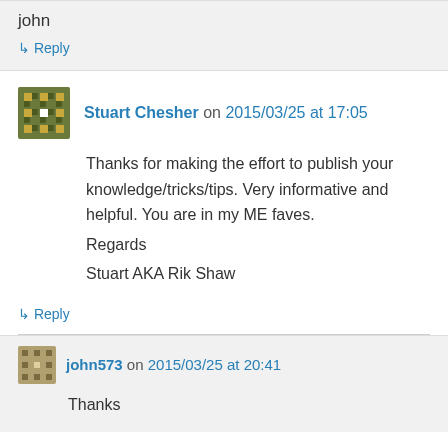john
↳ Reply
Stuart Chesher on 2015/03/25 at 17:05
Thanks for making the effort to publish your knowledge/tricks/tips. Very informative and helpful. You are in my ME faves.
Regards
Stuart AKA Rik Shaw
↳ Reply
john573 on 2015/03/25 at 20:41
Thanks